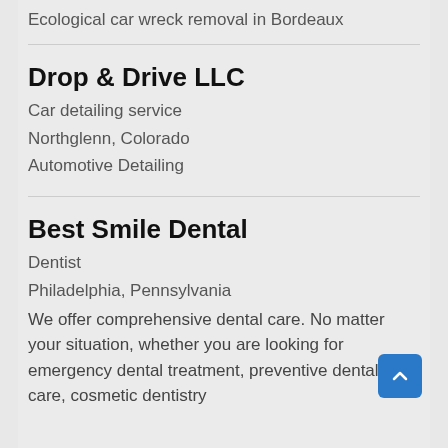Ecological car wreck removal in Bordeaux
Drop & Drive LLC
Car detailing service
Northglenn, Colorado
Automotive Detailing
Best Smile Dental
Dentist
Philadelphia, Pennsylvania
We offer comprehensive dental care. No matter your situation, whether you are looking for emergency dental treatment, preventive dental care, cosmetic dentistry